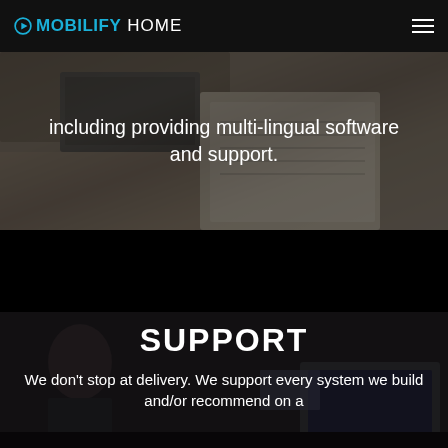OMOBILIFY HOME
[Figure (photo): Background photo of a laptop and notebook on a wooden desk, with dark overlay. Text overlay reads: 'including providing multi-lingual software and support.']
including providing multi-lingual software and support.
[Figure (photo): Black band section separating content areas]
[Figure (photo): Background photo showing a person working at a computer monitor in a dark environment. Contains section heading 'SUPPORT' and partial text 'We don’t stop at delivery. We support every system we build and/or recommend on a...']
SUPPORT
We don’t stop at delivery. We support every system we build and/or recommend on a